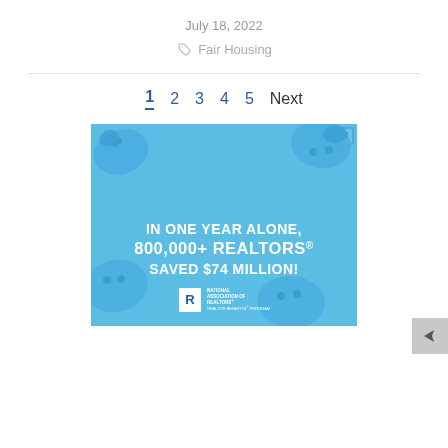July 18, 2022
Fair Housing
1  2  3  4  5  Next
[Figure (illustration): Advertisement banner with blue background showing piggy banks. Text reads: IN ONE YEAR ALONE, 800,000+ REALTORS® SAVED $74 MILLION! National Association of REALTORS® REALTOR BENEFITS® PROGRAM]